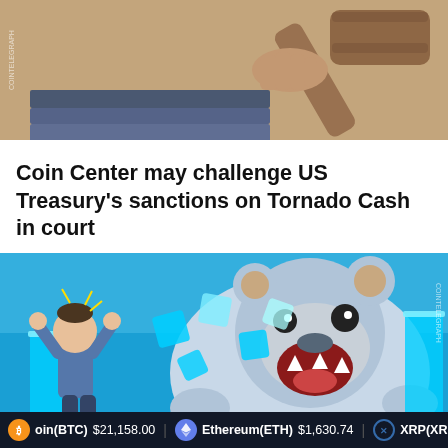[Figure (illustration): Illustration showing a judge's gavel coming down on a pile of law books, styled in a cartoon/comic art style. The image has a 'COINTELEGRAPH' watermark on the left side.]
Coin Center may challenge US Treasury's sanctions on Tornado Cash in court
[Figure (illustration): Illustration showing a person with hands on head looking distressed next to a large roaring bear (representing a crypto bear market), with glowing blue bar chart blocks being destroyed. Blue background. 'COINTELEGRAPH' watermark on the right side.]
coin(BTC) $21,158.00   Ethereum(ETH) $1,630.74   XRP(XRP)